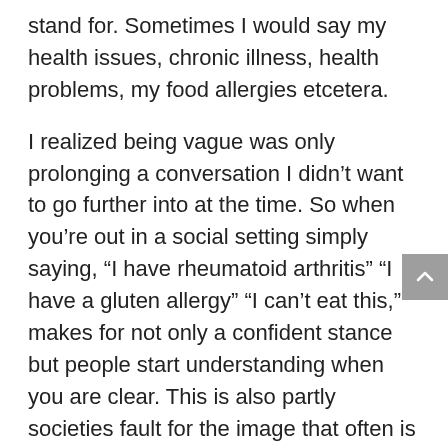stand for. Sometimes I would say my health issues, chronic illness, health problems, my food allergies etcetera.
I realized being vague was only prolonging a conversation I didn't want to go further into at the time. So when you're out in a social setting simply saying, “I have rheumatoid arthritis” “I have a gluten allergy” “I can’t eat this,” makes for not only a confident stance but people start understanding when you are clear. This is also partly societies fault for the image that often is associated with the word arthritis. Some people aren’t aware that there’s more than 100 different versions of arthritis, that’s why it’s up to us who live with